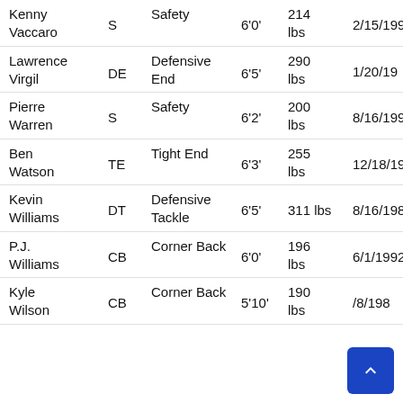| Name | Abbr | Position | Height | Weight | DOB |
| --- | --- | --- | --- | --- | --- |
| Kenny Vaccaro | S | Safety | 6'0' | 214 lbs | 2/15/199... |
| Lawrence Virgil | DE | Defensive End | 6'5' | 290 lbs | 1/20/19... |
| Pierre Warren | S | Safety | 6'2' | 200 lbs | 8/16/199... |
| Ben Watson | TE | Tight End | 6'3' | 255 lbs | 12/18/19... |
| Kevin Williams | DT | Defensive Tackle | 6'5' | 311 lbs | 8/16/198... |
| P.J. Williams | CB | Corner Back | 6'0' | 196 lbs | 6/1/1992... |
| Kyle Wilson | CB | Corner Back | 5'10' | 190 lbs | ...8/198... |